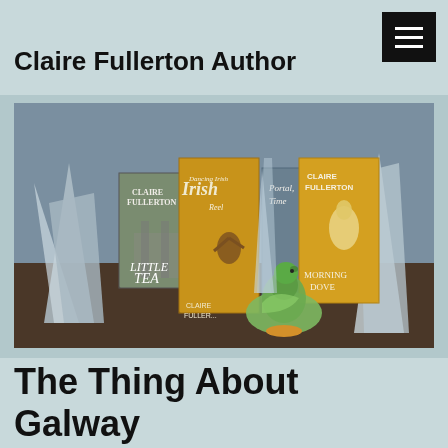Claire Fullerton Author
[Figure (photo): Photo of Claire Fullerton books displayed on a table alongside crystal/quartz formations and a ceramic green bird figurine. Books visible include 'Little Tea', 'Dancing Irish', 'Portal' and others with 'Claire Fullerton' as author name.]
The Thing About Galway